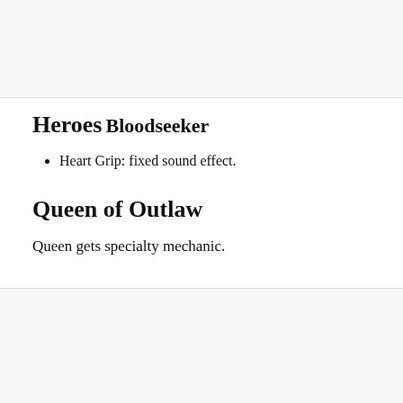[Figure (other): Gray shaded area at top of page]
Heroes
Bloodseeker
Heart Grip: fixed sound effect.
Queen of Outlaw
Queen gets specialty mechanic.
[Figure (other): Gray shaded area at bottom of page]